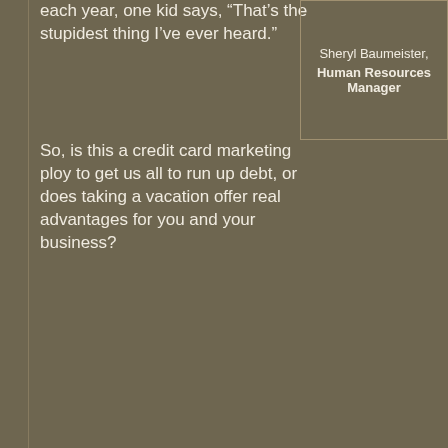each year, one kid says, “That’s the stupidest thing I’ve ever heard.”
So, is this a credit card marketing ploy to get us all to run up debt, or does taking a vacation offer real advantages for you and your business?
Sheryl Baumeister, Human Resources Manager